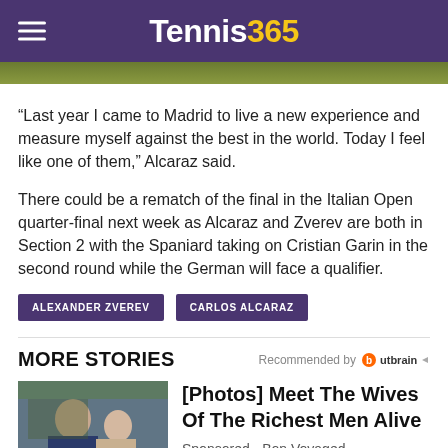Tennis365
“Last year I came to Madrid to live a new experience and measure myself against the best in the world. Today I feel like one of them,” Alcaraz said.
There could be a rematch of the final in the Italian Open quarter-final next week as Alcaraz and Zverev are both in Section 2 with the Spaniard taking on Cristian Garin in the second round while the German will face a qualifier.
ALEXANDER ZVEREV
CARLOS ALCARAZ
MORE STORIES
Recommended by Outbrain
[Figure (photo): Photo of two people at a tennis event, man in suit with sunglasses and woman beside him]
[Photos] Meet The Wives Of The Richest Men Alive
Sponsored - Bon Voyaged